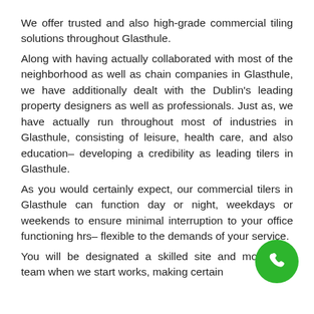We offer trusted and also high-grade commercial tiling solutions throughout Glasthule.
Along with having actually collaborated with most of the neighborhood as well as chain companies in Glasthule, we have additionally dealt with the Dublin's leading property designers as well as professionals. Just as, we have actually run throughout most of industries in Glasthule, consisting of leisure, health care, and also education– developing a credibility as leading tilers in Glasthule.
As you would certainly expect, our commercial tilers in Glasthule can function day or night, weekdays or weekends to ensure minimal interruption to your office functioning hrs– flexible to the demands of your service.
You will be designated a skilled site and monitoring team when we start works, making certain
[Figure (other): Green circular phone/call button icon in bottom right corner]